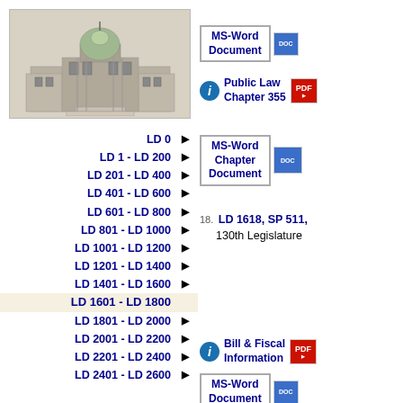[Figure (illustration): Maine State Capitol building illustration in gray tones with green dome]
LD 0 ▶
LD 1 - LD 200 ▶
LD 201 - LD 400 ▶
LD 401 - LD 600 ▶
LD 601 - LD 800 ▶
LD 801 - LD 1000 ▶
LD 1001 - LD 1200 ▶
LD 1201 - LD 1400 ▶
LD 1401 - LD 1600 ▶
LD 1601 - LD 1800 (active/selected)
LD 1801 - LD 2000 ▶
LD 2001 - LD 2200 ▶
LD 2201 - LD 2400 ▶
LD 2401 - LD 2600 ▶
[Figure (screenshot): MS-Word Document icon with DOC label]
MS-Word Document
Public Law Chapter 355
MS-Word Chapter Document
18. LD 1618, SP 511, 130th Legislature
Bill & Fiscal Information
MS-Word Document